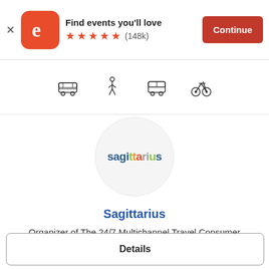[Figure (screenshot): Eventbrite app banner with orange rounded square logo showing white 'e', title 'Find events you’ll love', five orange stars and (148k) rating, and orange Continue button]
[Figure (infographic): Four transport mode icons: car/bus, pedestrian walking, bus/tram, bicycle]
[Figure (logo): Sagittarius company logo inside a light gray circle]
Sagittarius
Organizer of The 24/7 Multichannel Travel Consumer
Sales Ended
Details